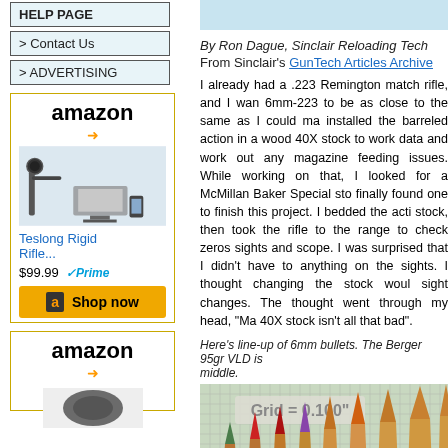HELP PAGE
> Contact Us
> ADVERTISING
[Figure (advertisement): Amazon advertisement for Teslong Rigid Rifle scope inspection camera, $99.99, Prime eligible, Shop now button]
[Figure (advertisement): Second Amazon advertisement box, partially visible]
By Ron Dague, Sinclair Reloading Tech
From Sinclair's GunTech Articles Archive
I already had a .223 Remington match rifle, and I wan... 6mm-223 to be as close to the same as I could ma... installed the barreled action in a wood 40X stock to work ... data and work out any magazine feeding issues. While... working on that, I looked for a McMillan Baker Special sto... finally found one to finish this project. I bedded the acti... stock, then took the rifle to the range to check zeros ... sights and scope. I was surprised that I didn't have to ... anything on the sights. I thought changing the stock woul... sight changes. The thought went through my head, "Ma... 40X stock isn't all that bad".
Here's line-up of 6mm bullets. The Berger 95gr VLD is ... middle.
[Figure (photo): Photo of 6mm bullets lined up on a grid background. Grid label reads: Grid = 0.100"]